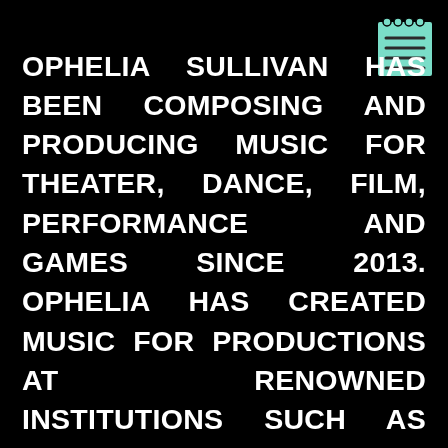[Figure (illustration): Small notepad/document icon in mint green color with horizontal lines, positioned top-right]
OPHELIA SULLIVAN HAS BEEN COMPOSING AND PRODUCING MUSIC FOR THEATER, DANCE, FILM, PERFORMANCE AND GAMES SINCE 2013. OPHELIA HAS CREATED MUSIC FOR PRODUCTIONS AT RENOWNED INSTITUTIONS SUCH AS STAATSTHEATER MAINZ, EINTANZHAUS MANNHEIM AND BERLINER FESTSPIELE. OPHELIA'S WORK IS GENERALLY CHARACTERIZED BY ITS HIGH EMOTIONALITY, INDULGENT EXPERIMENTATION WITH CONTRAST, UNCONVENTIONAL MUSICAL STRUCTURES, GENRE SUBVERSION, AND AN AFFINITY FOR